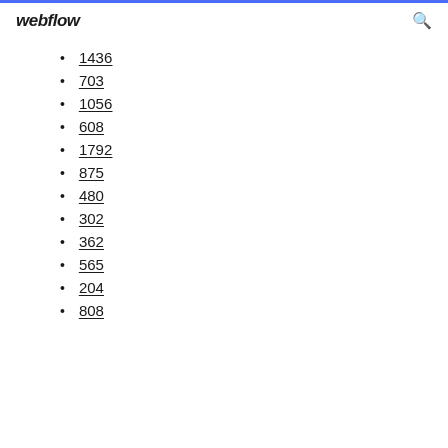webflow
1436
703
1056
608
1792
875
480
302
362
565
204
808